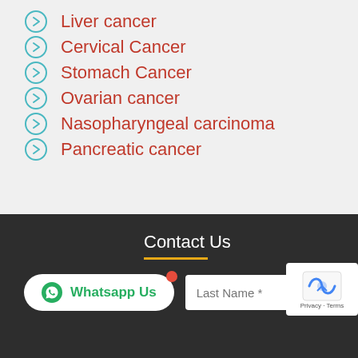Liver cancer
Cervical Cancer
Stomach Cancer
Ovarian cancer
Nasopharyngeal carcinoma
Pancreatic cancer
Contact Us
Whatsapp Us
Last Name *